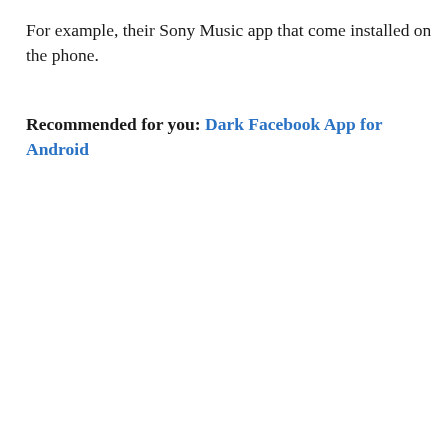For example, their Sony Music app that come installed on the phone.
Recommended for you: Dark Facebook App for Android